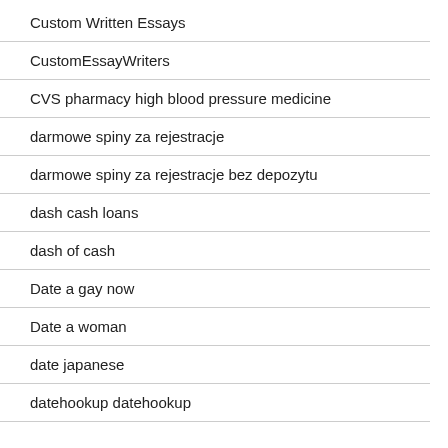Custom Written Essays
CustomEssayWriters
CVS pharmacy high blood pressure medicine
darmowe spiny za rejestracje
darmowe spiny za rejestracje bez depozytu
dash cash loans
dash of cash
Date a gay now
Date a woman
date japanese
datehookup datehookup